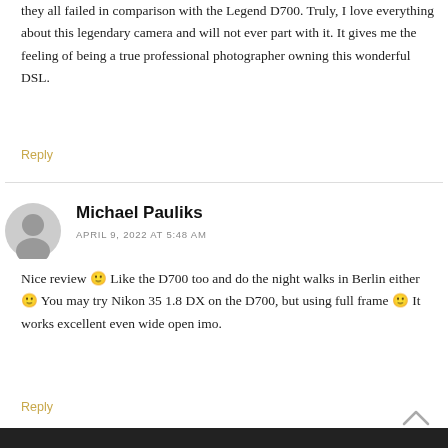they all failed in comparison with the Legend D700. Truly, I love everything about this legendary camera and will not ever part with it. It gives me the feeling of being a true professional photographer owning this wonderful DSL.
Reply
Michael Pauliks
APRIL 9, 2022 AT 5:48 AM
Nice review 🙂 Like the D700 too and do the night walks in Berlin either 🙂 You may try Nikon 35 1.8 DX on the D700, but using full frame 🙂 It works excellent even wide open imo.
Reply